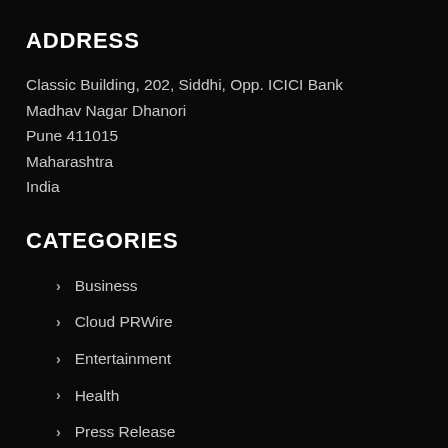ADDRESS
Classic Building, 202, Siddhi, Opp. ICICI Bank
Madhav Nagar Dhanori
Pune 411015
Maharashtra
India
CATEGORIES
Business
Cloud PRWire
Entertainment
Health
Press Release
Sports
Technology